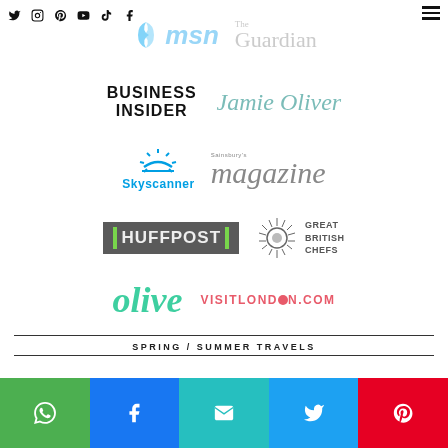[Figure (logo): Navigation bar with social media icons (Twitter, Instagram, Pinterest, YouTube, TikTok, Facebook) and hamburger menu]
[Figure (logo): MSN logo (blue butterfly icon with 'msn' text) and The Guardian logo in grey]
[Figure (logo): Business Insider logo in black bold uppercase and Jamie Oliver logo in teal italic serif]
[Figure (logo): Skyscanner logo in blue with sun rays icon and Sainsbury's Magazine logo in grey italic serif]
[Figure (logo): HuffPost logo in dark grey box with green bars and Great British Chefs logo with starburst icon]
[Figure (logo): Olive magazine logo in teal italic and VisitLondon.com logo in pink/red]
SPRING / SUMMER TRAVELS
[Figure (infographic): Row of five share buttons: WhatsApp (green), Facebook (blue), Email (teal), Twitter (blue), Pinterest (red)]